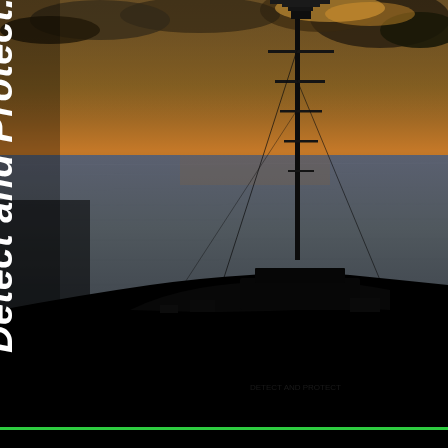[Figure (photo): Dramatic dusk/sunset photograph showing the silhouette of a naval or military vessel with a tall communications/radar mast against an orange-golden sky with clouds over a calm sea. The foreground is very dark, with the ship's superstructure visible as a black silhouette.]
Detect and Protect.